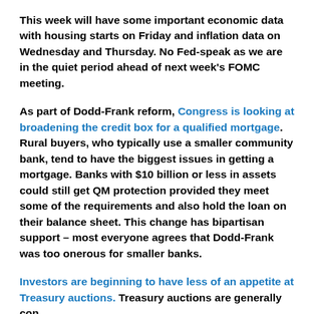This week will have some important economic data with housing starts on Friday and inflation data on Wednesday and Thursday. No Fed-speak as we are in the quiet period ahead of next week's FOMC meeting.
As part of Dodd-Frank reform, Congress is looking at broadening the credit box for a qualified mortgage. Rural buyers, who typically use a smaller community bank, tend to have the biggest issues in getting a mortgage. Banks with $10 billion or less in assets could still get QM protection provided they meet some of the requirements and also hold the loan on their balance sheet. This change has bipartisan support – most everyone agrees that Dodd-Frank was too onerous for smaller banks.
Investors are beginning to have less of an appetite at Treasury auctions. Treasury auctions are generally con...